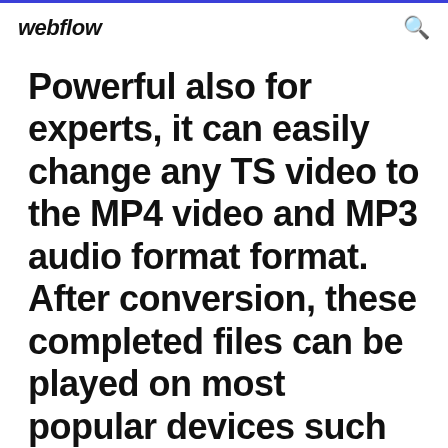webflow
Powerful also for experts, it can easily change any TS video to the MP4 video and MP3 audio format format. After conversion, these completed files can be played on most popular devices such as iPhone, iPad, iPod and other devices.
Download. Version:10.8 · Upgrade. $69.99 $29.99. Windows 10/8.1/8/7/Vista/2000/XP This Free Android Video Converter is your best choice to do HD video  Download Format Factor for Windows latest version 2022.